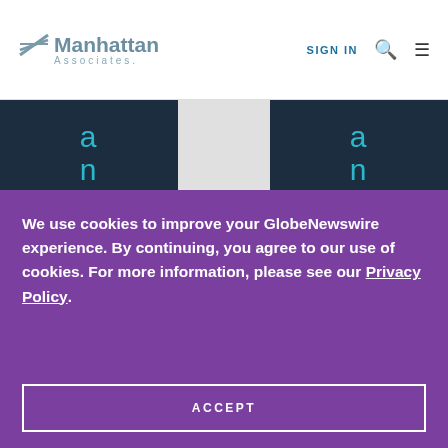Manhattan Associates | SIGN IN
[Figure (screenshot): Two dark navy blue panels with teal vertical text showing letters 'a n A s', separated by a white/grey gap, on a website background]
We use cookies to improve your GlobeNewswire experience. By continuing, you agree to our use of cookies. For more information, please see our Privacy Policy.
ACCEPT